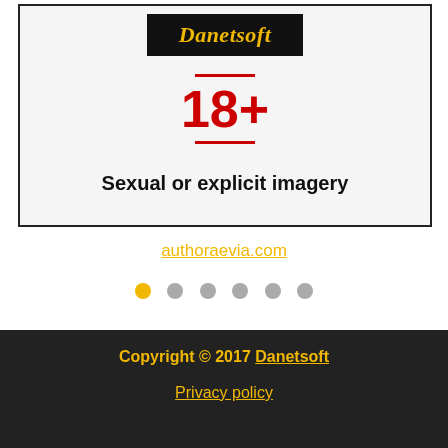[Figure (logo): Danetsoft logo in italic gold text on black background]
18+
Sexual or explicit imagery
authoraevia.com
[Figure (infographic): Carousel navigation dots: one gold/active, five gray/inactive]
Copyright © 2017 Danetsoft
Privacy policy